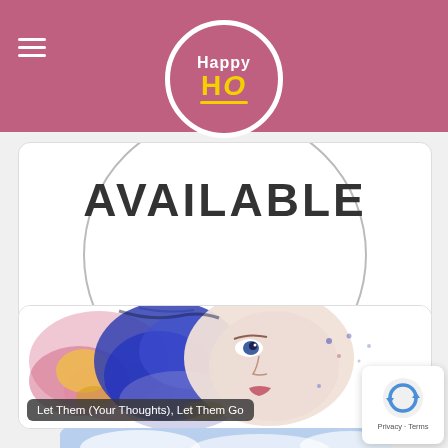Happy HO
[Figure (screenshot): Card with circle graphic and AVAILABLE text, caption: Let Life Dance inside your stillness]
[Figure (illustration): Watercolor painting of a woman's face with colorful abstract paint splashes in blue, pink, and yellow]
Let Them (Your Thoughts), Let Them Go
[Figure (photo): Partially visible card showing blue sky with clouds]